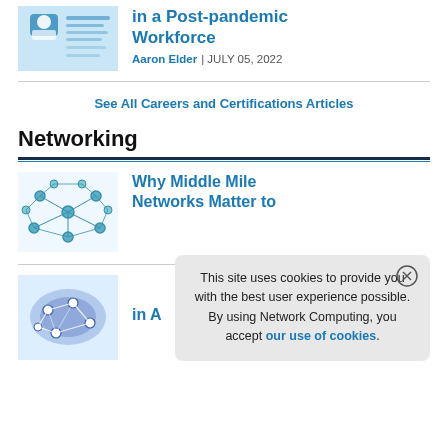[Figure (illustration): Thumbnail image showing a person icon related to post-pandemic workforce]
in a Post-pandemic Workforce
Aaron Elder | JULY 05, 2022
See All Careers and Certifications Articles
Networking
[Figure (illustration): Network diagram thumbnail with interconnected nodes on white background]
Why Middle Mile Networks Matter to
This site uses cookies to provide you with the best user experience possible. By using Network Computing, you accept our use of cookies.
[Figure (illustration): Blue network/data visualization thumbnail image]
in A